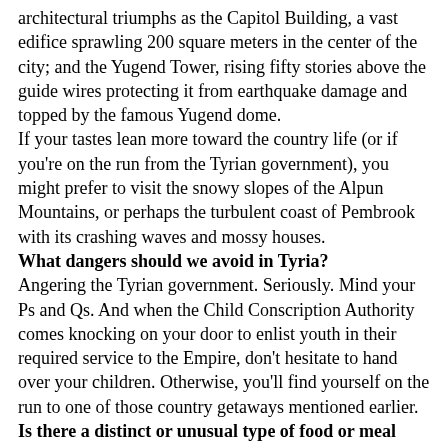architectural triumphs as the Capitol Building, a vast edifice sprawling 200 square meters in the center of the city; and the Yugend Tower, rising fifty stories above the guide wires protecting it from earthquake damage and topped by the famous Yugend dome.
If your tastes lean more toward the country life (or if you're on the run from the Tyrian government), you might prefer to visit the snowy slopes of the Alpun Mountains, or perhaps the turbulent coast of Pembrook with its crashing waves and mossy houses.
What dangers should we avoid in Tyria?
Angering the Tyrian government. Seriously. Mind your Ps and Qs. And when the Child Conscription Authority comes knocking on your door to enlist youth in their required service to the Empire, don't hesitate to hand over your children. Otherwise, you'll find yourself on the run to one of those country getaways mentioned earlier.
Is there a distinct or unusual type of food or meal that we might be served in Tyria?
Banitsa (eggs and feta cheese in a filo pastry) is excellent hot or cold, or you might try pelmeni (small dumplings). If you have a sweet tooth, go for palacinky (a crepe-like pancake filled with jam).
What types of weaponry or fighting styles are common in Tyria?
Hand guns, rifles, and blunderbusses for ground engagement. Blunderbusses are also used in airships as well as there